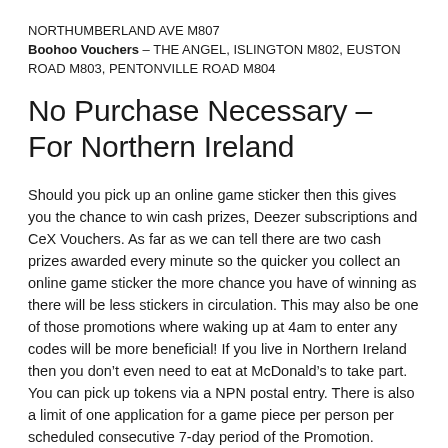NORTHUMBERLAND AVE M807
Boohoo Vouchers – THE ANGEL, ISLINGTON M802, EUSTON ROAD M803, PENTONVILLE ROAD M804
No Purchase Necessary – For Northern Ireland
Should you pick up an online game sticker then this gives you the chance to win cash prizes, Deezer subscriptions and CeX Vouchers. As far as we can tell there are two cash prizes awarded every minute so the quicker you collect an online game sticker the more chance you have of winning as there will be less stickers in circulation. This may also be one of those promotions where waking up at 4am to enter any codes will be more beneficial! If you live in Northern Ireland then you don't even need to eat at McDonald's to take part. You can pick up tokens via a NPN postal entry. There is also a limit of one application for a game piece per person per scheduled consecutive 7-day period of the Promotion. However as there are instant win cash and car prizes on offer we